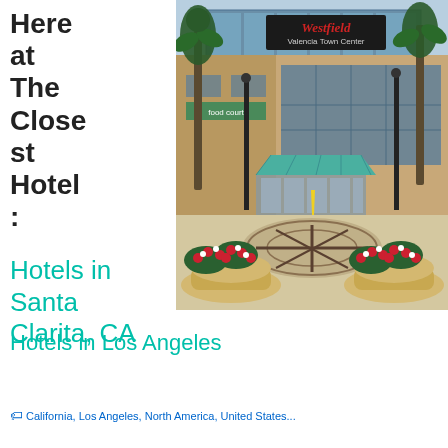Here at The Closest Hotel:
[Figure (photo): Westfield Valencia Town Center shopping mall exterior with palm trees, food court sign, teal canopy entrance, decorative tiled plaza, and flower planters with red and white blooms in foreground.]
Hotels in Santa Clarita, CA
Hotels in Los Angeles
California, Los Angeles, North America, United States...